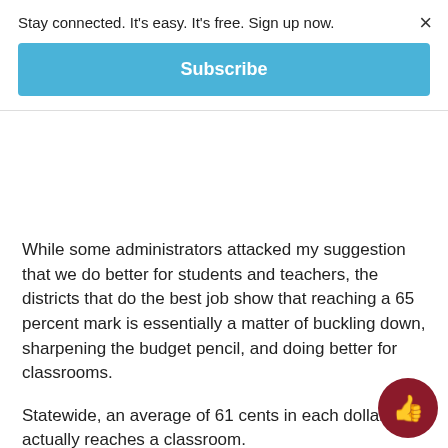Stay connected. It's easy. It's free. Sign up now.
Subscribe
While some administrators attacked my suggestion that we do better for students and teachers, the districts that do the best job show that reaching a 65 percent mark is essentially a matter of buckling down, sharpening the budget pencil, and doing better for classrooms.
Statewide, an average of 61 cents in each dollar actually reaches a classroom.
Clearly, 65 percent is achievable, despite grousing by some administrators.
If Missouri did well on pay for our teachers, the most important part of any school district's budget, I might ha…